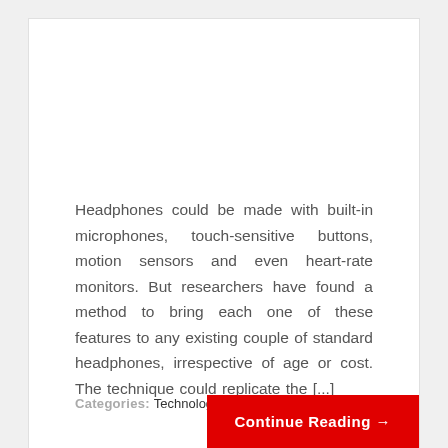Headphones could be made with built-in microphones, touch-sensitive buttons, motion sensors and even heart-rate monitors. But researchers have found a method to bring each one of these features to any existing couple of standard headphones, irrespective of age or cost. The technique could replicate the [...]
Categories: Technology
Continue Reading →